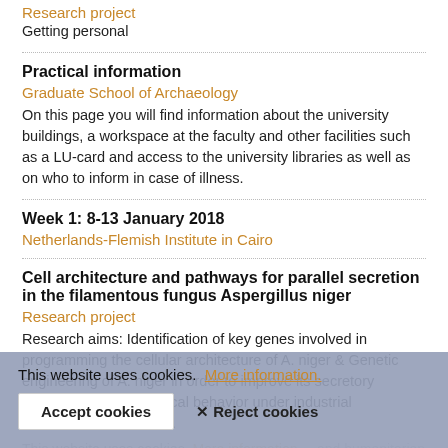Research project
Getting personal
Practical information
Graduate School of Archaeology
On this page you will find information about the university buildings, a workspace at the faculty and other facilities such as a LU-card and access to the university libraries as well as on who to inform in case of illness.
Week 1: 8-13 January 2018
Netherlands-Flemish Institute in Cairo
Cell architecture and pathways for parallel secretion in the filamentous fungus Aspergillus niger
Research project
Research aims: Identification of key genes involved in programming the cellular architecture of A. niger & Genetic engineering of A. niger in order to improve its secretory capacities and rheological behavior under industrial fermentation conditions.
This website uses cookies.  More information.
Accept cookies
✕ Reject cookies